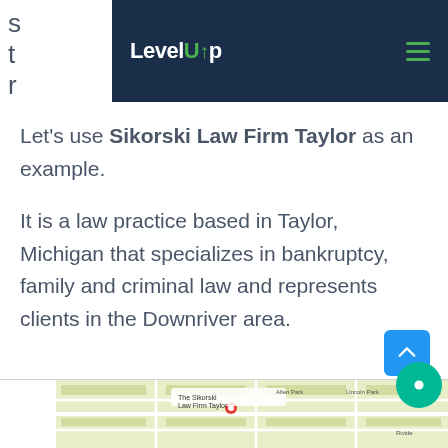LevelUp
Let’s use Sikorski Law Firm Taylor as an example.
It is a law practice based in Taylor, Michigan that specializes in bankruptcy, family and criminal law and represents clients in the Downriver area.
[Figure (map): Google Maps view showing location of The Sikorski Law Firm Taylor]